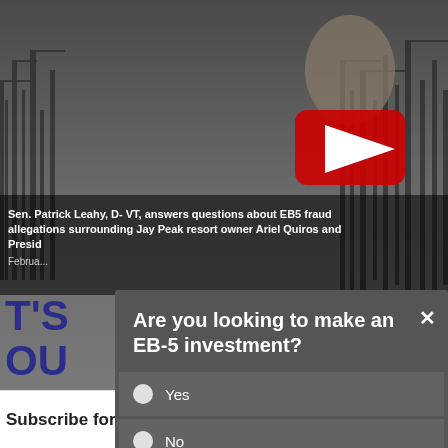[Figure (screenshot): Screenshot of a news website showing a video thumbnail of Sen. Patrick Leahy with trees in background, a modal survey dialog asking about EB-5 investment interest, and a Subscribe for News footer section.]
Sen. Patrick Leahy, D- VT, answers questions about EB5 fraud allegations surrounding Jay Peak resort owner Ariel Quiros and Presid...
February...
Are you looking to make an EB-5 investment?
Yes
No
Other
Send
e-Cour
March 0...
Subscribe for News